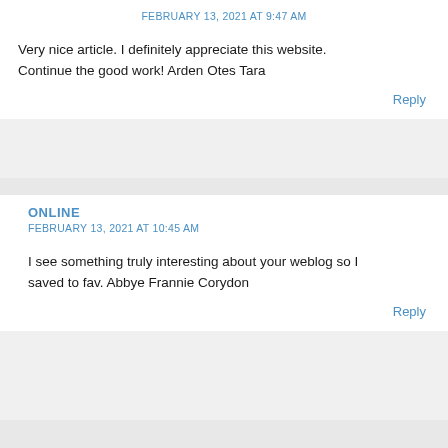FEBRUARY 13, 2021 AT 9:47 AM
Very nice article. I definitely appreciate this website. Continue the good work! Arden Otes Tara
Reply
ONLINE
FEBRUARY 13, 2021 AT 10:45 AM
I see something truly interesting about your weblog so I saved to fav. Abbye Frannie Corydon
Reply